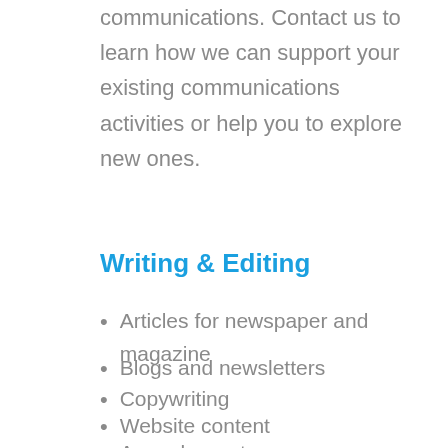communications. Contact us to learn how we can support your existing communications activities or help you to explore new ones.
Writing & Editing
Articles for newspaper and magazine
Blogs and newsletters
Copywriting
Website content
Annual reports